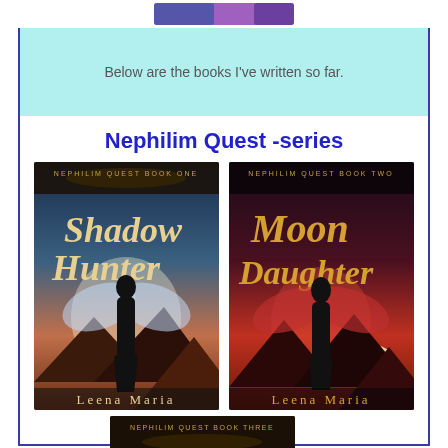[Figure (illustration): Decorative bar with purple gradient at top of page]
Below are the books I've written so far.
Nephilim Quest -series
[Figure (illustration): Book cover: Nephilim Quest Book One - Shadow Hunter by Leena Maria. Dark fantasy cover with winged female silhouette in front of pyramids, blue and warm tones.]
[Figure (illustration): Book cover: Nephilim Quest Book Two - Moon Daughter by Leena Maria. Dark fantasy cover with red-winged female silhouette in front of pyramids, red tones with moon.]
[Figure (illustration): Book cover: Nephilim Quest Book Three - partial view, dark with decorative top band.]